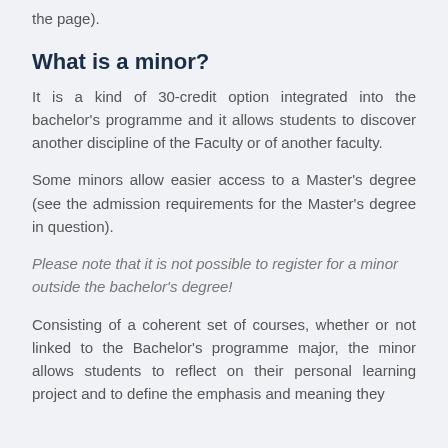the page).
What is a minor?
It is a kind of 30-credit option integrated into the bachelor's programme and it allows students to discover another discipline of the Faculty or of another faculty.
Some minors allow easier access to a Master's degree (see the admission requirements for the Master's degree in question).
Please note that it is not possible to register for a minor outside the bachelor's degree!
Consisting of a coherent set of courses, whether or not linked to the Bachelor's programme major, the minor allows students to reflect on their personal learning project and to define the emphasis and meaning they